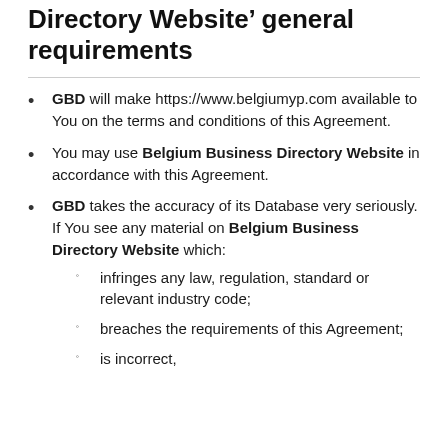Directory Website’ general requirements
GBD will make https://www.belgiumyp.com available to You on the terms and conditions of this Agreement.
You may use Belgium Business Directory Website in accordance with this Agreement.
GBD takes the accuracy of its Database very seriously. If You see any material on Belgium Business Directory Website which:
infringes any law, regulation, standard or relevant industry code;
breaches the requirements of this Agreement;
is incorrect,